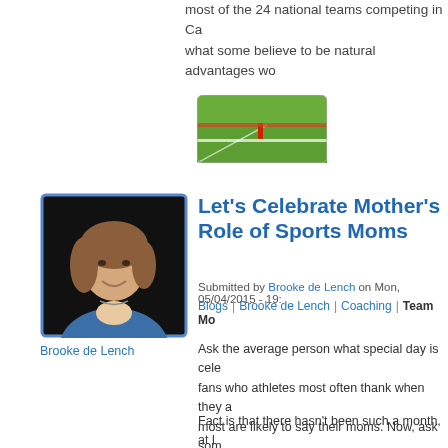most of the 24 national teams competing in Ca... what some believe to be natural advantages wo...
[Figure (photo): Football field with goal line marker and red pylon]
[Figure (photo): Headshot of Brooke de Lench, a woman in a blue jacket, smiling]
Brooke de Lench
Let's Celebrate Mother's Role of Sports Moms
Submitted by Brooke de Lench on Mon, 05/04/2015 - 19:...
Blogs | Brooke de Lench | Coaching | Team Mo...
Ask the average person what special day is cele... fans who athletes most often thank when they a... most are likely to say their moms. Now, ask som... Sports Moms Month, and I bet you would be me...
Fact is that there hasn't been such a month, at l... declare May to be Sports Moms Month.